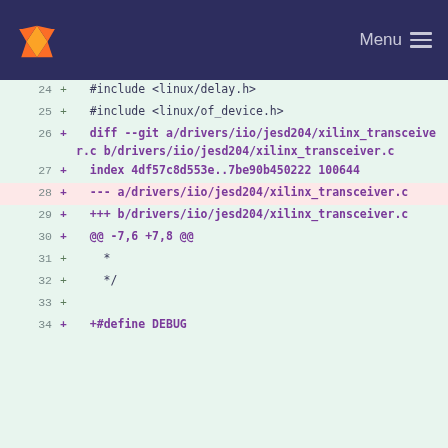[Figure (screenshot): GitLab navigation bar with fox logo and Menu button]
24  +  #include <linux/delay.h>
25  +  #include <linux/of_device.h>
26  +  diff --git a/drivers/iio/jesd204/xilinx_transceiver.c b/drivers/iio/jesd204/xilinx_transceiver.c
27  +  index 4df57c8d553e..7be90b450222 100644
28  +  --- a/drivers/iio/jesd204/xilinx_transceiver.c
29  +  +++ b/drivers/iio/jesd204/xilinx_transceiver.c
30  +  @@ -7,6 +7,8 @@
31  +   *
32  +   */
33  +
34  +  +#define DEBUG